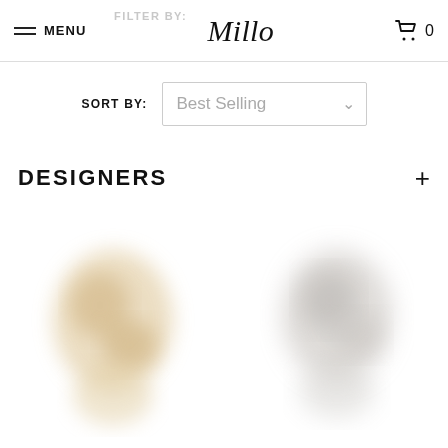MENU | Millo | 0
FILTER BY:
SORT BY: Best Selling
DESIGNERS +
[Figure (photo): Two blurred product images of jewelry items side by side]
[Figure (photo): Blurred jewelry product image on right side]